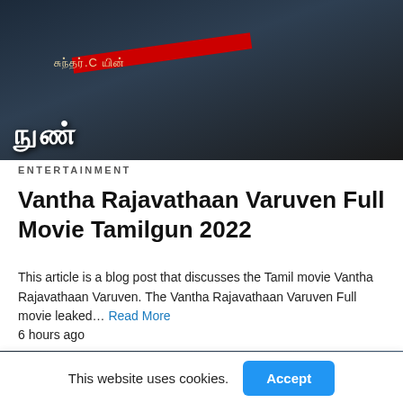[Figure (photo): Tamil movie poster/banner for Vantha Rajavathaan Varuven showing text in Tamil script with red stripe overlay]
ENTERTAINMENT
Vantha Rajavathaan Varuven Full Movie Tamilgun 2022
This article is a blog post that discusses the Tamil movie Vantha Rajavathaan Varuven. The Vantha Rajavathaan Varuven Full movie leaked… Read More
6 hours ago
[Figure (photo): TamilGun website banner/advertisement showing the TamilGun logo in blue text with person silhouettes on both sides and a close X button]
[Figure (other): Integrated Circuits Supplier advertisement banner with triangle play icon and X close icon]
This website uses cookies.
Accept